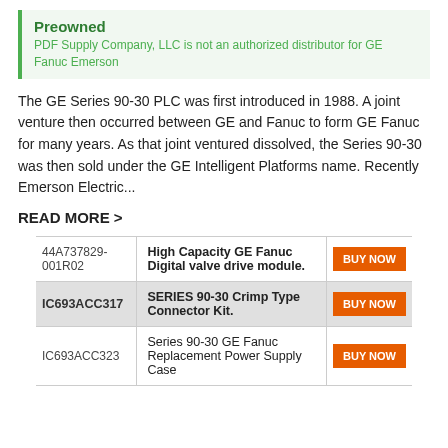Preowned
PDF Supply Company, LLC is not an authorized distributor for GE Fanuc Emerson
The GE Series 90-30 PLC was first introduced in 1988. A joint venture then occurred between GE and Fanuc to form GE Fanuc for many years. As that joint ventured dissolved, the Series 90-30 was then sold under the GE Intelligent Platforms name. Recently Emerson Electric...
READ MORE >
| SKU | Description | Action |
| --- | --- | --- |
| 44A737829-001R02 | High Capacity GE Fanuc Digital valve drive module. | BUY NOW |
| IC693ACC317 | SERIES 90-30 Crimp Type Connector Kit. | BUY NOW |
| IC693ACC323 | Series 90-30 GE Fanuc Replacement Power Supply Case | BUY NOW |